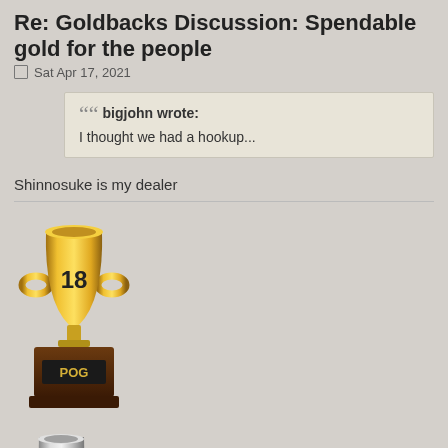Re: Goldbacks Discussion: Spendable gold for the people
Sat Apr 17, 2021
bigjohn wrote:
I thought we had a hookup...
Shinnosuke is my dealer
[Figure (illustration): Gold trophy cup with number 18, on a brown base labeled POG]
[Figure (illustration): Silver trophy cup with number 5, on a brown base labeled POG]
[Figure (illustration): Dark image with burning money and text USD 74]